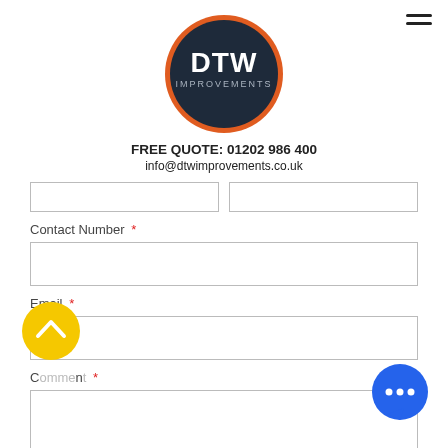[Figure (logo): DTW Improvements circular logo with dark navy background and orange border, white text reading DTW IMPROVEMENTS]
FREE QUOTE: 01202 986 400
info@dtwimprovements.co.uk
Contact Number *
Email *
C...t *
[Figure (illustration): Yellow circular scroll-to-top button with upward chevron arrow]
[Figure (illustration): Blue circular chat/messaging button with three dots (ellipsis)]